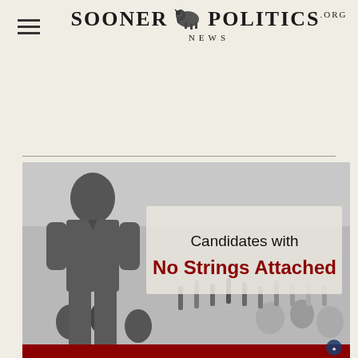Sooner Politics News .org
[Figure (illustration): Promotional graphic showing a silhouetted faceless man in a grey shirt standing in front of a crowd with raised hands, with text 'Candidates with No Strings Attached' in black and dark red. A small logo appears in the bottom right corner. Red bar at bottom.]